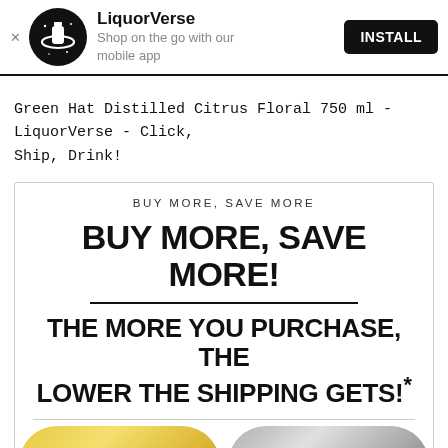[Figure (screenshot): LiquorVerse app install banner with black circular logo, app name, description, and INSTALL button]
Green Hat Distilled Citrus Floral 750 ml - LiquorVerse - Click, Ship, Drink!
[Figure (infographic): BUY MORE, SAVE MORE promotional banner with text: BUY MORE, SAVE MORE! THE MORE YOU PURCHASE, THE LOWER THE SHIPPING GETS! with gold and silver coin tier graphics at the bottom]